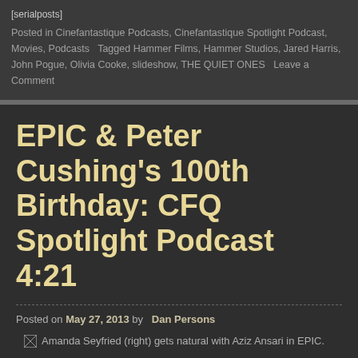[serialposts]
Posted in Cinefantastique Podcasts, Cinefantastique Spotlight Podcast, Movies, Podcasts   Tagged Hammer Films, Hammer Studios, Jared Harris, John Pogue, Olivia Cooke, slideshow, THE QUIET ONES   Leave a Comment
EPIC & Peter Cushing's 100th Birthday: CFQ Spotlight Podcast 4:21
Posted on May 27, 2013 by  Dan Persons
[Figure (photo): Broken image placeholder with alt text: Amanda Seyfried (right) gets natural with Aziz Ansari in EPIC.]